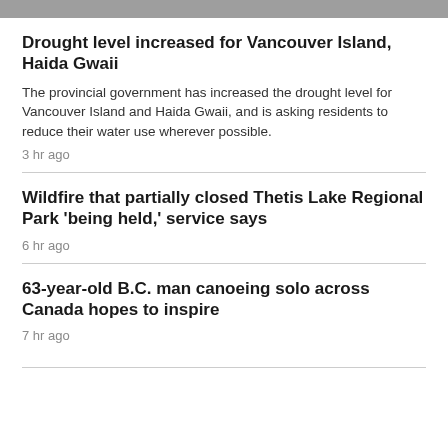Drought level increased for Vancouver Island, Haida Gwaii
The provincial government has increased the drought level for Vancouver Island and Haida Gwaii, and is asking residents to reduce their water use wherever possible.
3 hr ago
Wildfire that partially closed Thetis Lake Regional Park 'being held,' service says
6 hr ago
63-year-old B.C. man canoeing solo across Canada hopes to inspire
7 hr ago